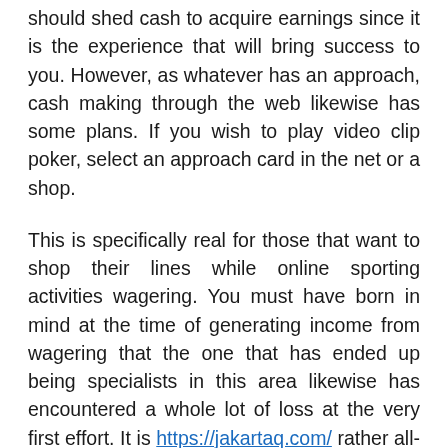should shed cash to acquire earnings since it is the experience that will bring success to you. However, as whatever has an approach, cash making through the web likewise has some plans. If you wish to play video clip poker, select an approach card in the net or a shop.
This is specifically real for those that want to shop their lines while online sporting activities wagering. You must have born in mind at the time of generating income from wagering that the one that has ended up being specialists in this area likewise has encountered a whole lot of loss at the very first effort. It is https://jakartaq.com/ rather all-natural to ask concerning these realities because if you are investing cash on something, it needs to be reliable